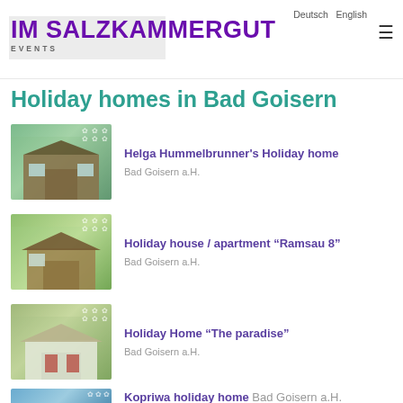IM SALZKAMMERGUT EVENTS | Deutsch | English
Holiday homes in Bad Goisern
Helga Hummelbrunner's Holiday home
Bad Goisern a.H.
Holiday house / apartment “Ramsau 8”
Bad Goisern a.H.
Holiday Home “The paradise”
Bad Goisern a.H.
Kopriwa holiday home Bad Goisern a.H.